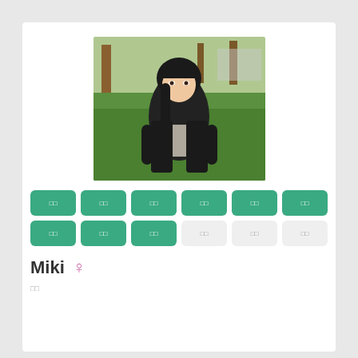[Figure (photo): Young woman with long dark hair wearing a black cardigan, standing outdoors on green grass, looking back over her shoulder]
□□ □□ □□ □□ □□ □□ □□ □□ □□ □□ □□ □□ (button grid with green and grey buttons)
Miki ♀